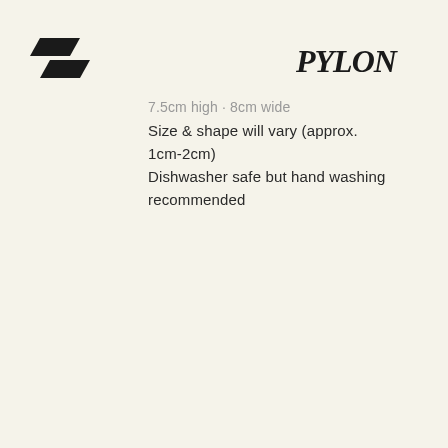[Figure (logo): Small black angular geometric logo mark in the top-left corner]
[Figure (logo): Black blackletter/gothic style wordmark reading 'pylon' in the top-right corner]
7.5cm high · 8cm wide
Size & shape will vary (approx. 1cm-2cm)
Dishwasher safe but hand washing recommended